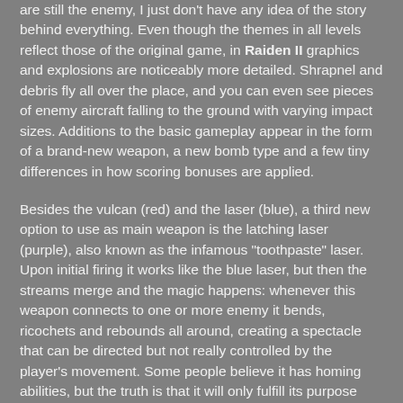are still the enemy, I just don't have any idea of the story behind everything. Even though the themes in all levels reflect those of the original game, in Raiden II graphics and explosions are noticeably more detailed. Shrapnel and debris fly all over the place, and you can even see pieces of enemy aircraft falling to the ground with varying impact sizes. Additions to the basic gameplay appear in the form of a brand-new weapon, a new bomb type and a few tiny differences in how scoring bonuses are applied.
Besides the vulcan (red) and the laser (blue), a third new option to use as main weapon is the latching laser (purple), also known as the infamous "toothpaste" laser. Upon initial firing it works like the blue laser, but then the streams merge and the magic happens: whenever this weapon connects to one or more enemy it bends, ricochets and rebounds all around, creating a spectacle that can be directed but not really controlled by the player's movement. Some people believe it has homing abilities, but the truth is that it will only fulfill its purpose when the player directs it to a proper target. Weapons are selected by collecting a power-up that cycles colors in a fixed sequence (red → blue → purple → red), and